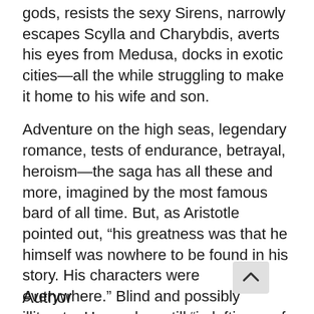gods, resists the sexy Sirens, narrowly escapes Scylla and Charybdis, averts his eyes from Medusa, docks in exotic cities—all the while struggling to make it home to his wife and son.
Adventure on the high seas, legendary romance, tests of endurance, betrayal, heroism—the saga has all these and more, imagined by the most famous bard of all time. But, as Aristotle pointed out, “his greatness was that he himself was nowhere to be found in his story. His characters were everywhere.” Blind and possibly illiterate. Homer has still “in loftiness of thought surpass’d”* any storyteller since 900 B.C.E.
*John Dryden
Author